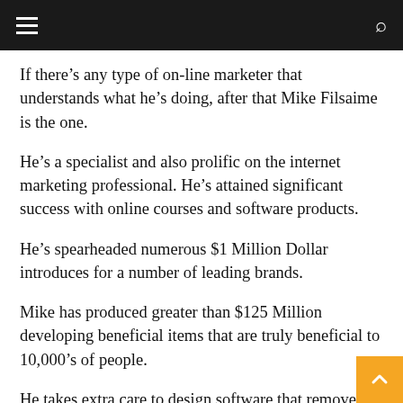If there’s any type of on-line marketer that understands what he’s doing, after that Mike Filsaime is the one.
He’s a specialist and also prolific on the internet marketing professional. He’s attained significant success with online courses and software products.
He’s spearheaded numerous $1 Million Dollar introduces for a number of leading brands.
Mike has produced greater than $125 Million developing beneficial items that are truly beneficial to 10,000’s of people.
He takes extra care to design software that removes the pain and also aggravation of beginning and scaling an